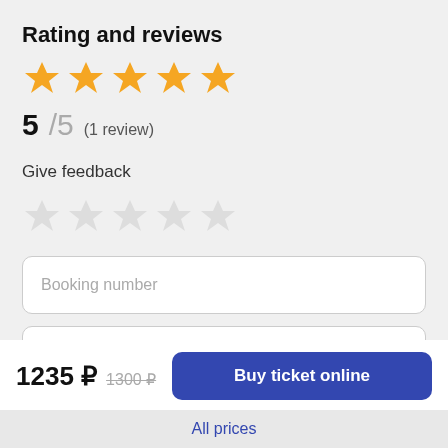Rating and reviews
[Figure (other): Five filled orange stars representing 5-star rating]
5/5   (1 review)
Give feedback
[Figure (other): Five empty/grey star icons for user feedback input]
Booking number
Name
1235 ₽  1300 ₽
Buy ticket online
All prices